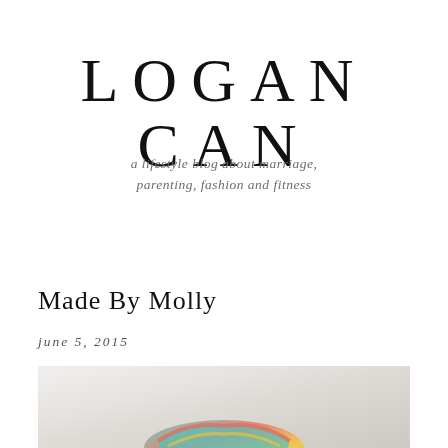LOGAN CAN
a lifestyle blog about marriage, parenting, fashion and fitness
Made By Molly
june 5, 2015
[Figure (photo): Close-up photo showing white textured fabric/yarn background with a colorful handmade item visible at the bottom edge]